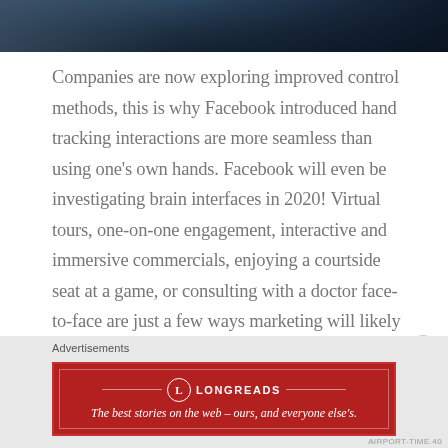[Figure (photo): Partial photo of people at an event, cropped at top of page, dark blue tones]
Companies are now exploring improved control methods, this is why Facebook introduced hand tracking interactions are more seamless than using one’s own hands. Facebook will even be investigating brain interfaces in 2020! Virtual tours, one-on-one engagement, interactive and immersive commercials, enjoying a courtside seat at a game, or consulting with a doctor face-to-face are just a few ways marketing will likely shift in the near future through the use of virtual reality.
Advertisements
[Figure (logo): Longreads advertisement banner: red background with Longreads logo and tagline 'The best stories on the web – ours, and everyone else’s.']